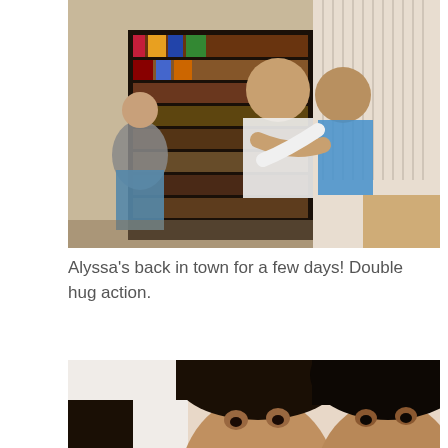[Figure (photo): Photo of people hugging in a room with a large bookshelf. Two pairs of people are embracing — one pair on the left side near the bookshelf, another pair on the right side in front of it. The bookshelf is filled with many books.]
Alyssa's back in town for a few days! Double hug action.
[Figure (photo): Close-up selfie-style photo of multiple people's faces, showing two or three individuals in a tight frame with dark hair.]